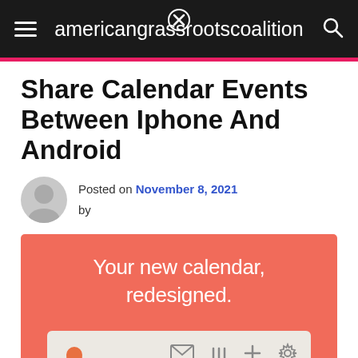americangrassrootscoalition
Share Calendar Events Between Iphone And Android
Posted on November 8, 2021
by
[Figure (screenshot): App promotional screenshot with salmon/coral background showing text 'Your new calendar, redesigned.' and a calendar app mockup UI with icons and day labels S M T T F S at the bottom.]